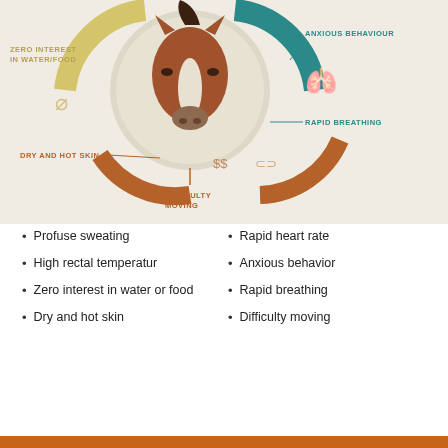[Figure (infographic): Infographic showing signs of heat stress in a horse. A horse face is shown in the center surrounded by colored arcs (teal, yellow, brown). Labels point to: Zero Interest In Water/Food (left, yellow), Anxious Behaviour (right, teal), Rapid Breathing (right, teal), Dry And Hot Skin (lower left, brown), Difficulty Moving (bottom, brown). A lung icon appears on the right side.]
Profuse sweating
High rectal temperatur
Zero interest in water or food
Dry and hot skin
Rapid heart rate
Anxious behavior
Rapid breathing
Difficulty moving